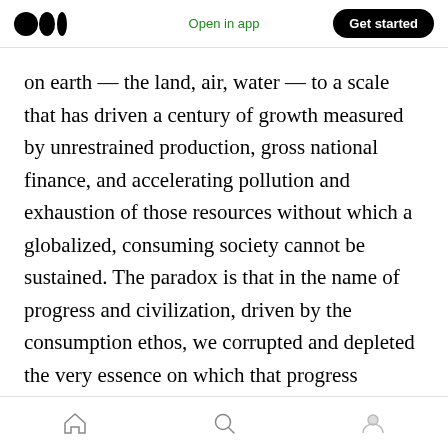Open in app | Get started
on earth — the land, air, water — to a scale that has driven a century of growth measured by unrestrained production, gross national finance, and accelerating pollution and exhaustion of those resources without which a globalized, consuming society cannot be sustained. The paradox is that in the name of progress and civilization, driven by the consumption ethos, we corrupted and depleted the very essence on which that progress depends. Demand has exceeded and overwhelmed supply, with all the associated consequence we experience today.
Home | Search | Profile